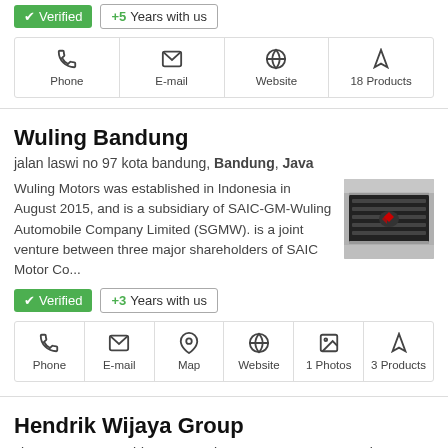Verified | +5 Years with us
Phone | E-mail | Website | 18 Products
Wuling Bandung
jalan laswi no 97 kota bandung, Bandung, Java
Wuling Motors was established in Indonesia in August 2015, and is a subsidiary of SAIC-GM-Wuling Automobile Company Limited (SGMW). is a joint venture between three major shareholders of SAIC Motor Co...
[Figure (photo): Close-up photo of a car front grille, dark metallic with a red logo emblem]
Verified | +3 Years with us
Phone | E-mail | Map | Website | 1 Photos | 3 Products
Hendrik Wijaya Group
Jl. H.R. Rasuna Said, Karet Kuningan, Komp. Rasuna Epicentrum Lot 9 Daerah Khusus Ibukota Jakarta, Jakarta, Java